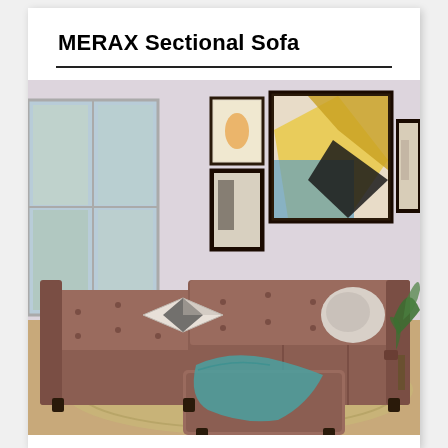MERAX Sectional Sofa
[Figure (photo): Product photo of a MERAX sectional sofa in brown fabric with tufted cushions, decorative pillows, and a teal throw blanket, set in a living room with framed wall art, large windows, and a patterned area rug.]